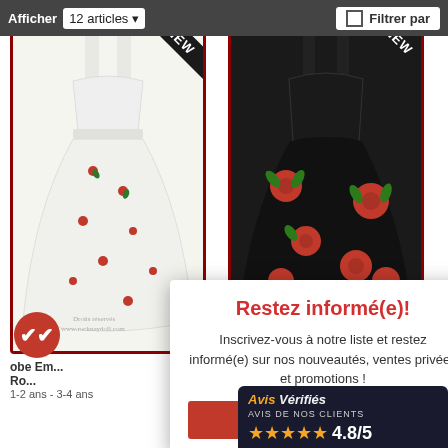Afficher  12 articles ▾    □ Filtrer par
[Figure (photo): White dress with red rose pattern, NEW ribbon in top-right corner, dark red decorative frame border]
[Figure (photo): Black dress with large red rose floral pattern, NEW ribbon in top-right corner, dark red decorative frame border]
obe Em... Ro... 1-2 ans - 3-4 ans
e Retro... - 7-8 ans
Restez informé(e)!
Inscrivez-vous à notre liste et restez informé(e) sur nos nouveautés, ventes privées et promotions !
S'inscrir
Avis Vérifiés
AVIS DE NOS CLIENTS
★★★★★ 4.8/5